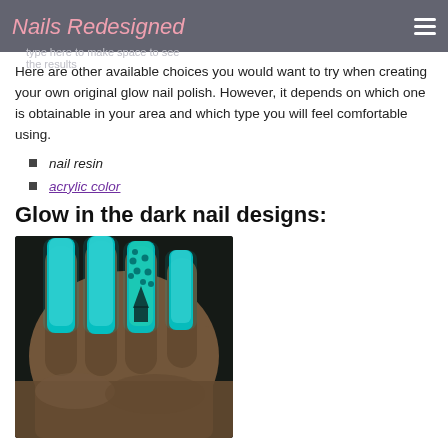Nails Redesigned | type here to make space to see the results
Here are other available choices you would want to try when creating your own original glow nail polish. However, it depends on which one is obtainable in your area and which type you will feel comfortable using.
nail resin
acrylic color
Glow in the dark nail designs:
[Figure (photo): Close-up photo of a hand with long coffin-shaped nails glowing cyan/teal in the dark, including one nail with polka dot and triangle pattern design.]